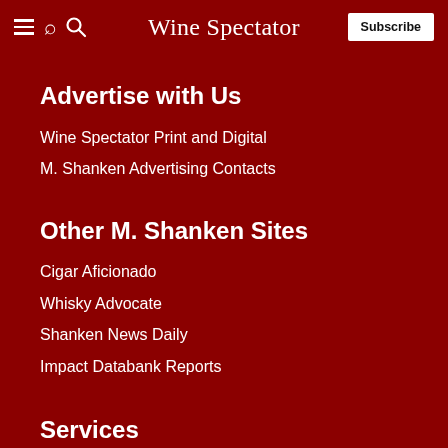Wine Spectator | Subscribe
Advertise with Us
Wine Spectator Print and Digital
M. Shanken Advertising Contacts
Other M. Shanken Sites
Cigar Aficionado
Whisky Advocate
Shanken News Daily
Impact Databank Reports
Services